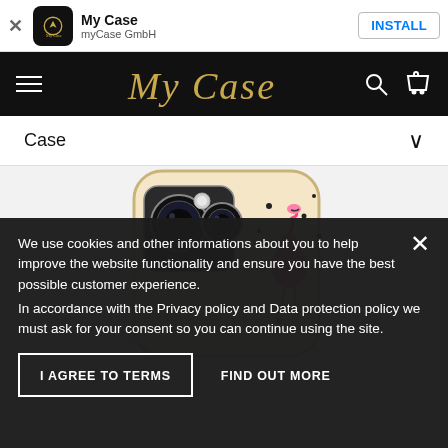My Case — myCase GmbH — INSTALL
[Figure (screenshot): My Case app navigation bar with hamburger menu, 'My Case' cursive gold logo on black background, search and cart icons]
Case ∨
[Figure (photo): iPhone case with flamingo and polka dot pattern design, clear/transparent case showing phone cameras]
We use cookies and other informations about you to help improve the website functionality and ensure you have the best possible customer experience.
In accordance with the Privacy policy and Data protection policy we must ask for your consent so you can continue using the site.
I AGREE TO TERMS
FIND OUT MORE